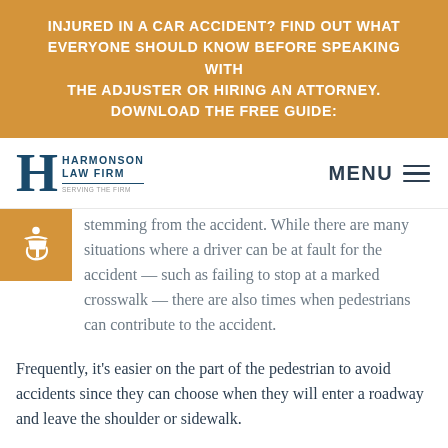INJURED IN A CAR ACCIDENT? FIND OUT WHAT EVERYONE SHOULD KNOW BEFORE SPEAKING WITH THE ADJUSTER OR HIRING AN ATTORNEY. DOWNLOAD THE FREE GUIDE:
[Figure (logo): Harmonson Law Firm logo with large H lettermark and firm name stacked text, plus MENU hamburger navigation]
stemming from the accident. While there are many situations where a driver can be at fault for the accident — such as failing to stop at a marked crosswalk — there are also times when pedestrians can contribute to the accident.
Frequently, it's easier on the part of the pedestrian to avoid accidents since they can choose when they will enter a roadway and leave the shoulder or sidewalk.